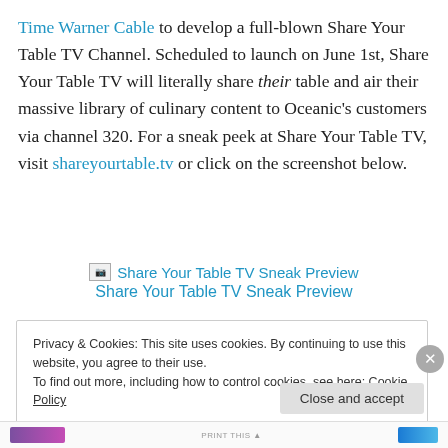Time Warner Cable to develop a full-blown Share Your Table TV Channel. Scheduled to launch on June 1st, Share Your Table TV will literally share their table and air their massive library of culinary content to Oceanic's customers via channel 320. For a sneak peek at Share Your Table TV, visit shareyourtable.tv or click on the screenshot below.
[Figure (other): Broken image icon with link text 'Share Your Table TV Sneak Preview' and caption link below]
Share Your Table TV Sneak Preview
Privacy & Cookies: This site uses cookies. By continuing to use this website, you agree to their use. To find out more, including how to control cookies, see here: Cookie Policy